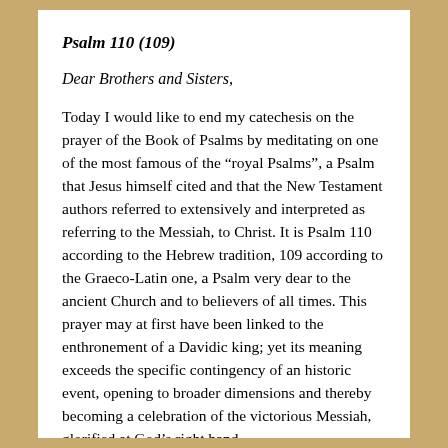Psalm 110 (109)
Dear Brothers and Sisters,
Today I would like to end my catechesis on the prayer of the Book of Psalms by meditating on one of the most famous of the “royal Psalms”, a Psalm that Jesus himself cited and that the New Testament authors referred to extensively and interpreted as referring to the Messiah, to Christ. It is Psalm 110 according to the Hebrew tradition, 109 according to the Graeco-Latin one, a Psalm very dear to the ancient Church and to believers of all times. This prayer may at first have been linked to the enthronement of a Davidic king; yet its meaning exceeds the specific contingency of an historic event, opening to broader dimensions and thereby becoming a celebration of the victorious Messiah, glorified at God’s right hand.
The Psalm begins with a solemn declaration: “the Lord says to my lord ‘Sit at my right hand, till I